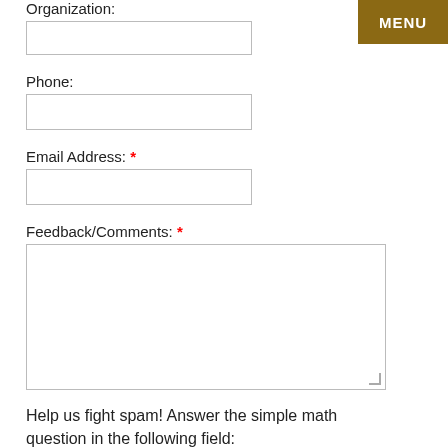Organization:
Phone:
Email Address: *
Feedback/Comments: *
Help us fight spam! Answer the simple math question in the following field:
MENU